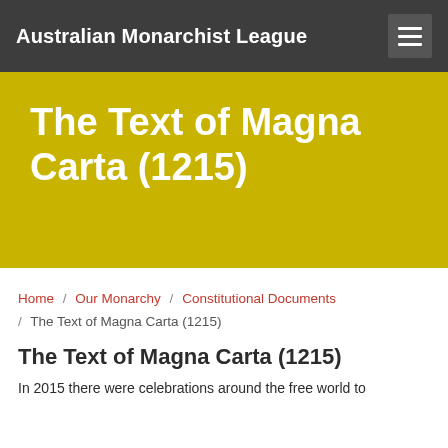Australian Monarchist League
The Text of Magna Carta (1215)
Home / Our Monarchy / Constitutional Documents / The Text of Magna Carta (1215)
The Text of Magna Carta (1215)
In 2015 there were celebrations around the free world to